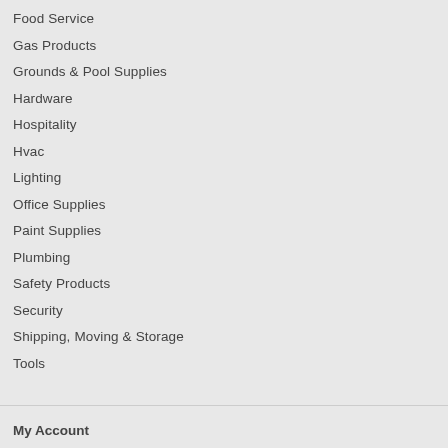Food Service
Gas Products
Grounds & Pool Supplies
Hardware
Hospitality
Hvac
Lighting
Office Supplies
Paint Supplies
Plumbing
Safety Products
Security
Shipping, Moving & Storage
Tools
My Account